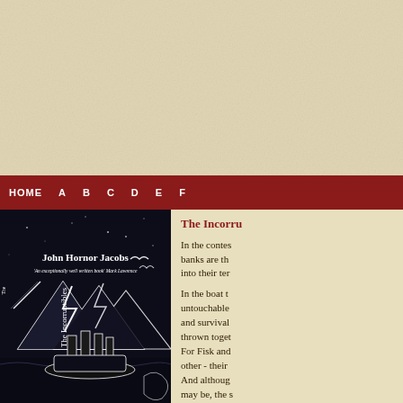[Figure (illustration): Textured parchment/paper background for the top portion of the page]
HOME  A  B  C  D  E  F
[Figure (illustration): Book cover of 'The Incorruptibles' by John Hornor Jacobs. Dark woodcut-style illustration showing mountains, lightning, birds, industrial smokestacks and a steamboat. Quote: 'An exceptionally well written book' Mark Lawrence. Title 'The Incorruptibles' written vertically on the spine.]
The Incorru
In the contes banks are th into their ter
In the boat t untouchable and survival thrown toget For Fisk and other - their And althoug may be, the s